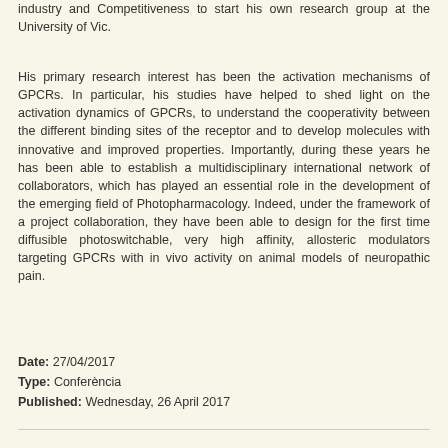industry and Competitiveness to start his own research group at the University of Vic.
His primary research interest has been the activation mechanisms of GPCRs. In particular, his studies have helped to shed light on the activation dynamics of GPCRs, to understand the cooperativity between the different binding sites of the receptor and to develop molecules with innovative and improved properties. Importantly, during these years he has been able to establish a multidisciplinary international network of collaborators, which has played an essential role in the development of the emerging field of Photopharmacology. Indeed, under the framework of a project collaboration, they have been able to design for the first time diffusible photoswitchable, very high affinity, allosteric modulators targeting GPCRs with in vivo activity on animal models of neuropathic pain.
Date: 27/04/2017
Type: Conferència
Published: Wednesday, 26 April 2017